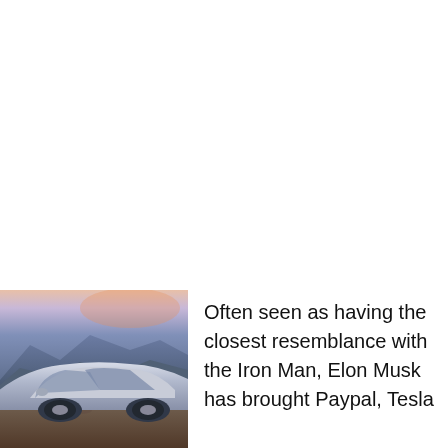[Figure (photo): Photo of a silver Tesla car from a side-front angle, set against a desert landscape with mountains and a dusk/dawn sky with pink and blue hues.]
Often seen as having the closest resemblance with the Iron Man, Elon Musk has brought Paypal, Tesla